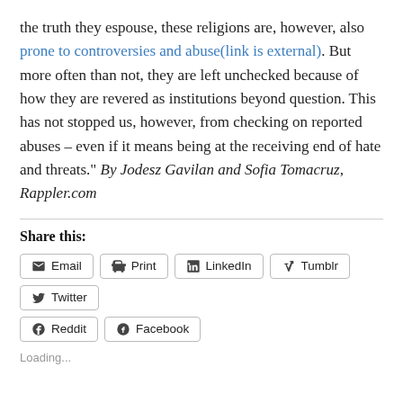the truth they espouse, these religions are, however, also prone to controversies and abuse(link is external). But more often than not, they are left unchecked because of how they are revered as institutions beyond question. This has not stopped us, however, from checking on reported abuses – even if it means being at the receiving end of hate and threats." By Jodesz Gavilan and Sofia Tomacruz, Rappler.com
Share this:
Email | Print | LinkedIn | Tumblr | Twitter | Reddit | Facebook
Loading...